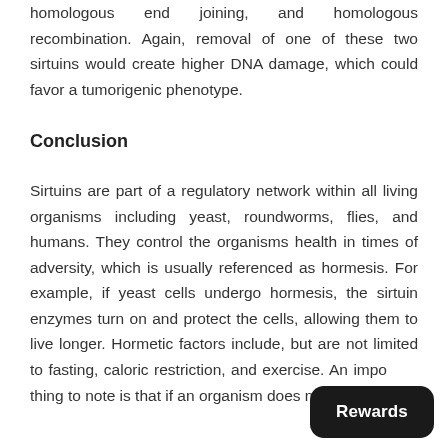homologous end joining, and homologous recombination. Again, removal of one of these two sirtuins would create higher DNA damage, which could favor a tumorigenic phenotype.
Conclusion
Sirtuins are part of a regulatory network within all living organisms including yeast, roundworms, flies, and humans. They control the organisms health in times of adversity, which is usually referenced as hormesis. For example, if yeast cells undergo hormesis, the sirtuin enzymes turn on and protect the cells, allowing them to live longer. Hormetic factors include, but are not limited to fasting, caloric restriction, and exercise. An important thing to note is that if an organism does not have